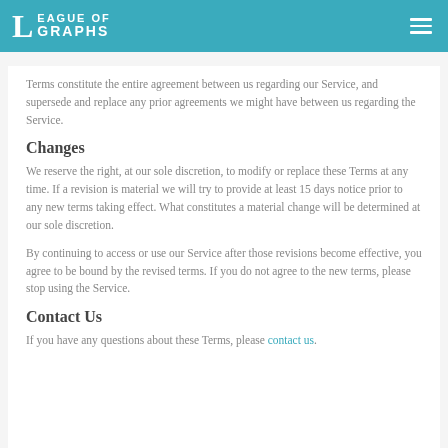League of Graphs
Terms constitute the entire agreement between us regarding our Service, and supersede and replace any prior agreements we might have between us regarding the Service.
Changes
We reserve the right, at our sole discretion, to modify or replace these Terms at any time. If a revision is material we will try to provide at least 15 days notice prior to any new terms taking effect. What constitutes a material change will be determined at our sole discretion.
By continuing to access or use our Service after those revisions become effective, you agree to be bound by the revised terms. If you do not agree to the new terms, please stop using the Service.
Contact Us
If you have any questions about these Terms, please contact us.